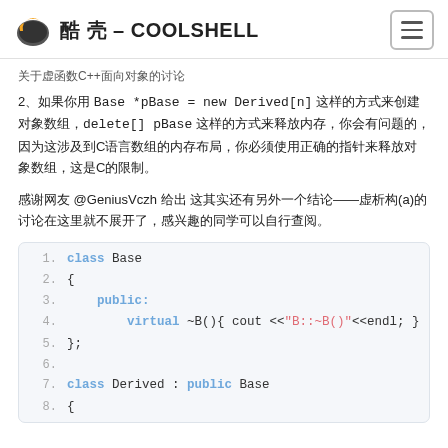酷 壳 – COOLSHELL
关于虚函数C++面向对象的讨论
2、如果你用 Base *pBase = new Derived[n] 这样的方式来创建对象数组，delete[] pBase 这样的方式来释放内存，你会有问题的，因为这涉及到C语言数组的内存布局，你必须使用正确的指针来释放对象数组，这是C的限制。
感谢网友 @GeniusVczh 给出 这其实还有另外一个结论——虚析构(a)的讨论在这里就不展开了，感兴趣的同学可以自行查阅。
[Figure (screenshot): Code block showing C++ class definitions with syntax highlighting. Lines 1-8 shown. class Base { public: virtual ~B(){ cout <<"B::~B()"<<endl; }; } and class Derived : public Base { ...]